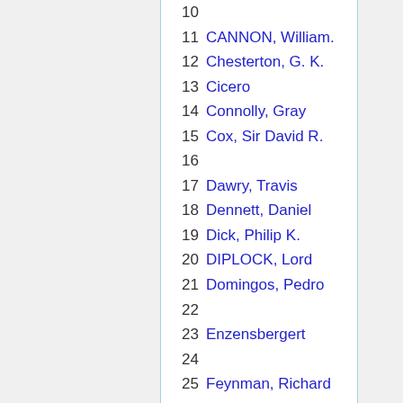10
11 CANNON, William.
12 Chesterton, G. K.
13 Cicero
14 Connolly, Gray
15 Cox, Sir David R.
16
17 Dawry, Travis
18 Dennett, Daniel
19 Dick, Philip K.
20 DIPLOCK, Lord
21 Domingos, Pedro
22
23 Enzensbergert
24
25 Feynman, Richard
26 Flanagan, Caitlin
27 Follows, Tracey
28 Foster, Michael
29 Franco, Francisco